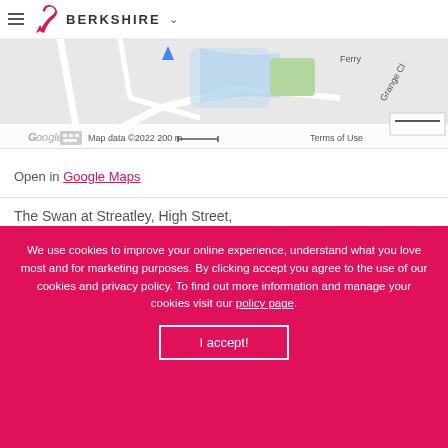BERKSHIRE
[Figure (map): Google Maps partial view showing Streatley-on-Thames area with street map, Ferry label, Grange Cl, Google logo, Map data ©2022, 200m scale, Terms of Use]
Open in Google Maps
The Swan at Streatley, High Street, Streatley-on-Thames, RG8 9HR
theswanatstreatley.com
01491 878800
info@theswanatstreatley.com
We use cookies to improve your online experience, understand what you love most and for marketing purposes. By clicking accept you agree to the use of our cookies and privacy policy. To find out more information and manage your cookies visit our policy page.
I accept!